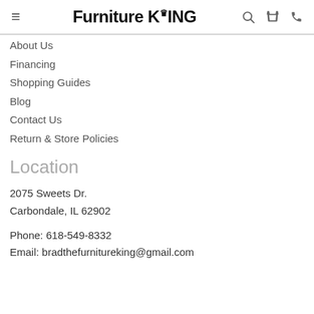Furniture King
About Us
Financing
Shopping Guides
Blog
Contact Us
Return & Store Policies
Location
2075 Sweets Dr.
Carbondale, IL 62902
Phone: 618-549-8332
Email: bradthefurnitureking@gmail.com